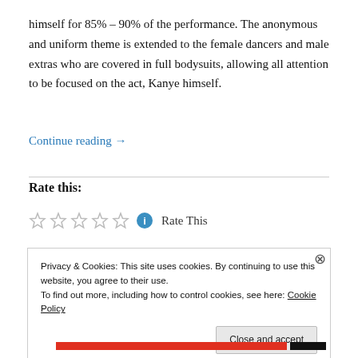himself for 85% – 90% of the performance. The anonymous and uniform theme is extended to the female dancers and male extras who are covered in full bodysuits, allowing all attention to be focused on the act, Kanye himself.
Continue reading →
Rate this:
Rate This
Privacy & Cookies: This site uses cookies. By continuing to use this website, you agree to their use.
To find out more, including how to control cookies, see here: Cookie Policy
Close and accept